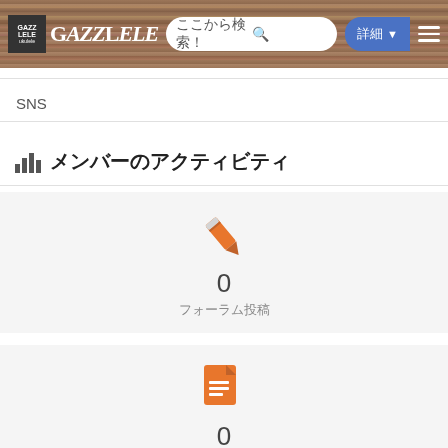GAZZLELE ここから検索！ 詳細
SNS
メンバーのアクティビティ
[Figure (illustration): Orange pencil icon representing forum posts]
0
フォーラム投稿
[Figure (illustration): Orange document/file icon representing topics]
0
トピック